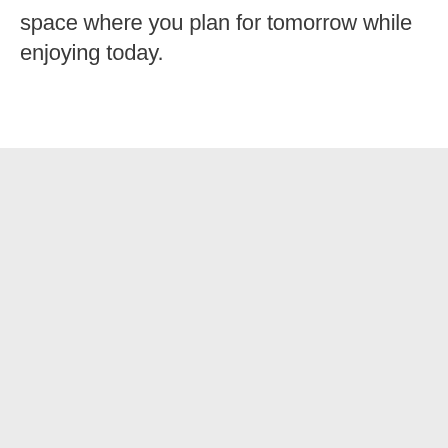space where you plan for tomorrow while enjoying today.
[Figure (other): Large empty light gray background area filling the lower portion of the page.]